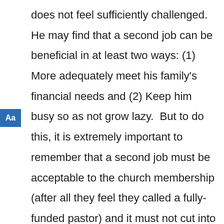does not feel sufficiently challenged.  He may find that a second job can be beneficial in at least two ways: (1) More adequately meet his family's financial needs and (2) Keep him busy so as not grow lazy.  But to do this, it is extremely important to remember that a second job must be acceptable to the church membership (after all they feel they called a fully-funded pastor) and it must not cut into his pastoral duties.  He must remember in this type of situation that his church work must be his priority.